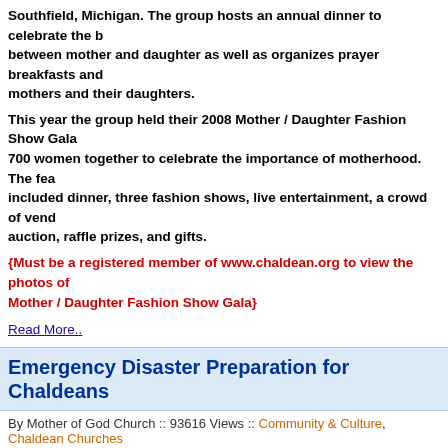Southfield, Michigan. The group hosts an annual dinner to celebrate the bond between mother and daughter as well as organizes prayer breakfasts and mothers and their daughters.
This year the group held their 2008 Mother / Daughter Fashion Show Gala... 700 women together to celebrate the importance of motherhood. The featured event included dinner, three fashion shows, live entertainment, a crowd of vendors, silent auction, raffle prizes, and gifts.
{Must be a registered member of www.chaldean.org to view the photos of the Mother / Daughter Fashion Show Gala}
Read More..
Emergency Disaster Preparation for Chaldeans
By Mother of God Church :: 93616 Views :: Community & Culture, Chaldean Churches
[Figure (photo): First Aid kit (blue case with red cross) open with medical supplies and medication bottles spread around it, labeled 'First Aid' and 'Aid'. A label reading 'Medication' appears to the right.]